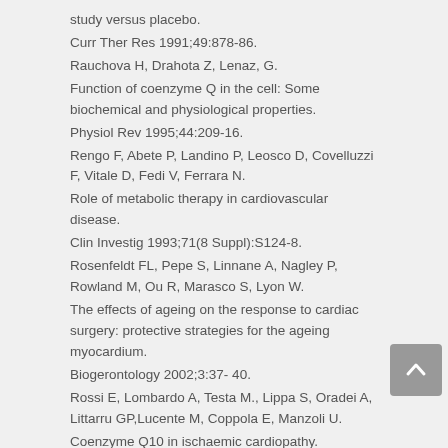study versus placebo.
Curr Ther Res 1991;49:878-86.
Rauchova H, Drahota Z, Lenaz, G.
Function of coenzyme Q in the cell: Some biochemical and physiological properties.
Physiol Rev 1995;44:209-16.
Rengo F, Abete P, Landino P, Leosco D, Covelluzzi F, Vitale D, Fedi V, Ferrara N.
Role of metabolic therapy in cardiovascular disease.
Clin Investig 1993;71(8 Suppl):S124-8.
Rosenfeldt FL, Pepe S, Linnane A, Nagley P, Rowland M, Ou R, Marasco S, Lyon W.
The effects of ageing on the response to cardiac surgery: protective strategies for the ageing myocardium.
Biogerontology 2002;3:37- 40.
Rossi E, Lombardo A, Testa M., Lippa S, Oradei A, Littarru GP,Lucente M, Coppola E, Manzoli U.
Coenzyme Q10 in ischaemic cardiopathy.